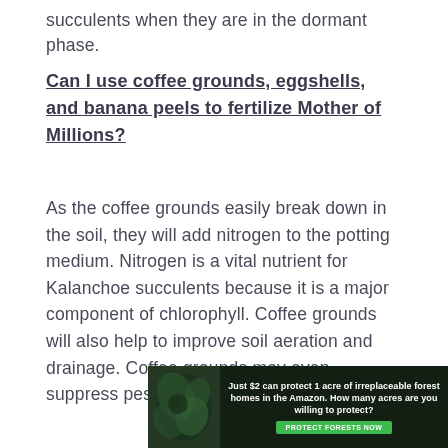succulents when they are in the dormant phase.
Can I use coffee grounds, eggshells, and banana peels to fertilize Mother of Millions?
As the coffee grounds easily break down in the soil, they will add nitrogen to the potting medium. Nitrogen is a vital nutrient for Kalanchoe succulents because it is a major component of chlorophyll. Coffee grounds will also help to improve soil aeration and drainage. Coffee grounds may even suppress pests and weeds.
[Figure (other): Advertisement banner: 'Just $2 can protect 1 acre of irreplaceable forest homes in the Amazon. How many acres are you willing to protect?' with a green 'PROTECT FORESTS NOW' button and a forest/leaf image on the left.]